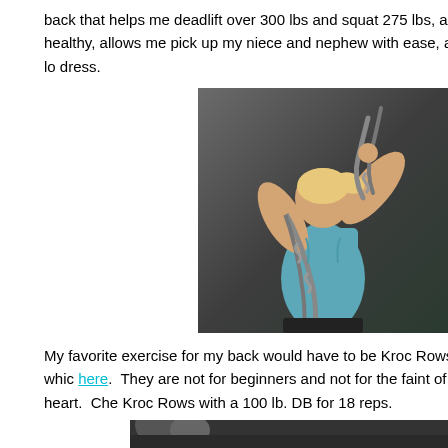back that helps me deadlift over 300 lbs and squat 275 lbs, also healthy, allows me pick up my niece and nephew with ease, and lo dress.
[Figure (photo): A muscular woman in a teal/blue tank top, viewed from the back, holding heavy metal chains draped over her shoulders and raised above her head, posed against a dark background.]
My favorite exercise for my back would have to be Kroc Rows, whic here. They are not for beginners and not for the faint of heart. Che Kroc Rows with a 100 lb. DB for 18 reps.
[Figure (photo): Partial photo at the bottom of the page, cropped.]